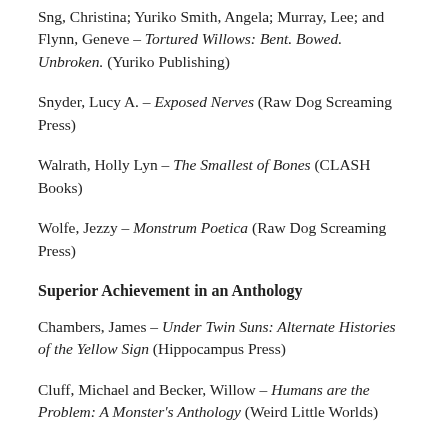Sng, Christina; Yuriko Smith, Angela; Murray, Lee; and Flynn, Geneve – Tortured Willows: Bent. Bowed. Unbroken. (Yuriko Publishing)
Snyder, Lucy A. – Exposed Nerves (Raw Dog Screaming Press)
Walrath, Holly Lyn – The Smallest of Bones (CLASH Books)
Wolfe, Jezzy – Monstrum Poetica (Raw Dog Screaming Press)
Superior Achievement in an Anthology
Chambers, James – Under Twin Suns: Alternate Histories of the Yellow Sign (Hippocampus Press)
Cluff, Michael and Becker, Willow – Humans are the Problem: A Monster's Anthology (Weird Little Worlds)
Datlow, Ellen – When Things Get Dark: Stories Inspired by Shirley Jackson (Titan Books)